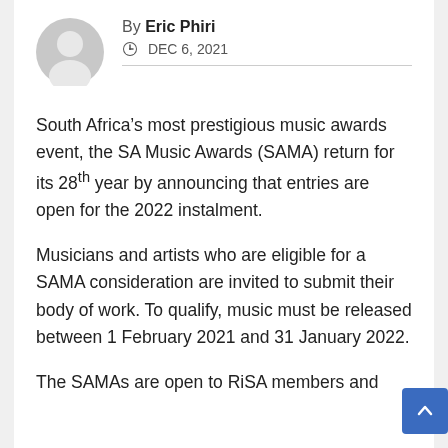[Figure (illustration): Circular grey avatar/profile icon placeholder]
By Eric Phiri
DEC 6, 2021
South Africa’s most prestigious music awards event, the SA Music Awards (SAMA) return for its 28th year by announcing that entries are open for the 2022 instalment.
Musicians and artists who are eligible for a SAMA consideration are invited to submit their body of work. To qualify, music must be released between 1 February 2021 and 31 January 2022.
The SAMAs are open to RiSA members and